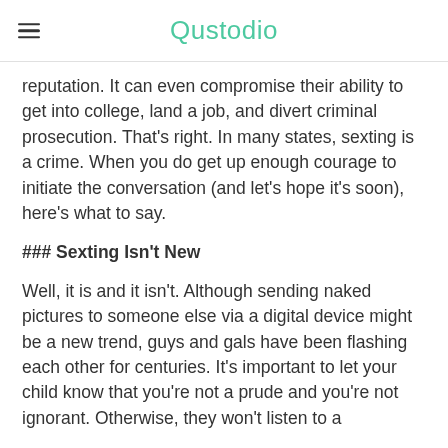Qustodio
reputation. It can even compromise their ability to get into college, land a job, and divert criminal prosecution. That's right. In many states, sexting is a crime. When you do get up enough courage to initiate the conversation (and let's hope it's soon), here's what to say.
### Sexting Isn't New
Well, it is and it isn't. Although sending naked pictures to someone else via a digital device might be a new trend, guys and gals have been flashing each other for centuries. It's important to let your child know that you're not a prude and you're not ignorant. Otherwise, they won't listen to a